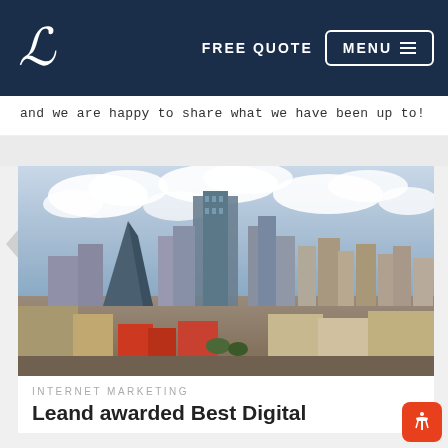FREE QUOTE  MENU
and we are happy to share what we have been up to!
[Figure (photo): Aerial view of a city skyline with skyscrapers under a cloudy sky, likely Dallas, TX]
INTERNET MARKETING
Leand awarded Best Digital